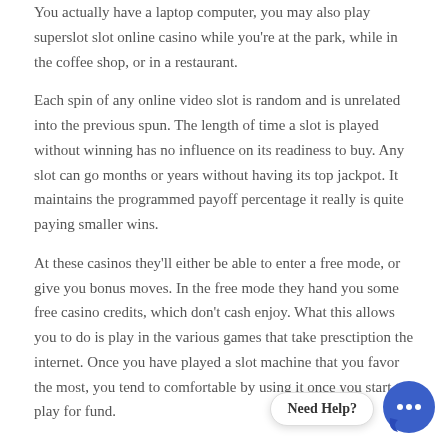You actually have a laptop computer, you may also play superslot slot online casino while you're at the park, while in the coffee shop, or in a restaurant.
Each spin of any online video slot is random and is unrelated into the previous spun. The length of time a slot is played without winning has no influence on its readiness to buy. Any slot can go months or years without having its top jackpot. It maintains the programmed payoff percentage it really is quite paying smaller wins.
At these casinos they'll either be able to enter a free mode, or give you bonus moves. In the free mode they hand you some free casino credits, which don't cash enjoy. What this allows you to do is play in the various games that take presctiption the internet. Once you have played a slot machine that you favor the most, you tend to comfortable by using it once you start to play for fund.
[Figure (other): Chat widget with 'Need Help?' label and circular chat icon with ellipsis]